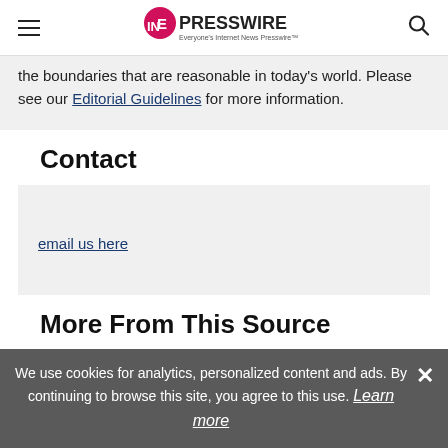EINPresswire - Everyone's Internet News Presswire
the boundaries that are reasonable in today's world. Please see our Editorial Guidelines for more information.
Contact
email us here
More From This Source
We use cookies for analytics, personalized content and ads. By continuing to browse this site, you agree to this use. Learn more